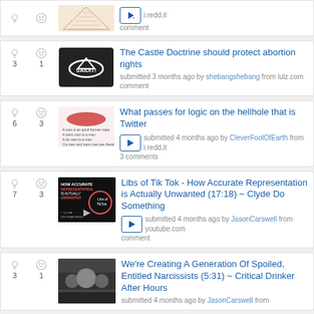i.redd.it comment
The Castle Doctrine should protect abortion rights - submitted 3 months ago by shebangshebang from lulz.com comment
What passes for logic on the hellhole that is Twitter - submitted 4 months ago by CleverFoolOfEarth from i.redd.it 3 comments
Libs of Tik Tok - How Accurate Representation is Actually Unwanted (17:18) ~ Clyde Do Something - submitted 4 months ago by JasonCarswell from youtube.com comment
We're Creating A Generation Of Spoiled, Entitled Narcissists (5:31) ~ Critical Drinker After Hours - submitted 4 months ago by JasonCarswell from